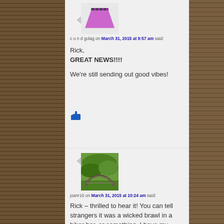[Figure (illustration): Avatar image: pink/purple trapezoid shape (stylized hat or film clapboard) on white background]
c u n d gulag on March 31, 2015 at 9:57 am said:
Rick,
GREAT NEWS!!!!
We're still sending out good vibes!
[Figure (illustration): Thumbs up emoji / like button icon in blue]
[Figure (photo): Aerial photo of an ornamental arched stone bridge over green garden landscape]
joanr16 on March 31, 2015 at 10:24 am said:
Rick – thrilled to hear it! You can tell strangers it was a wicked brawl in a biker bar, or something. I have my fingers